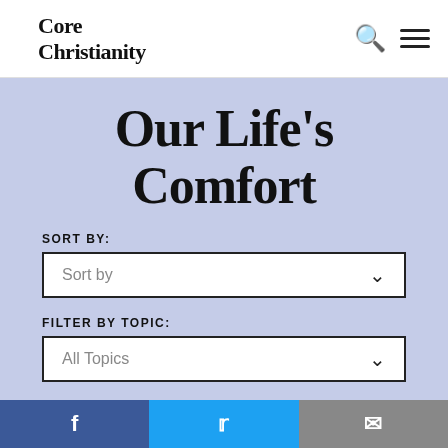Core Christianity
Our Life's Comfort
SORT BY:
Sort by
FILTER BY TOPIC:
All Topics
Facebook | Twitter | Email